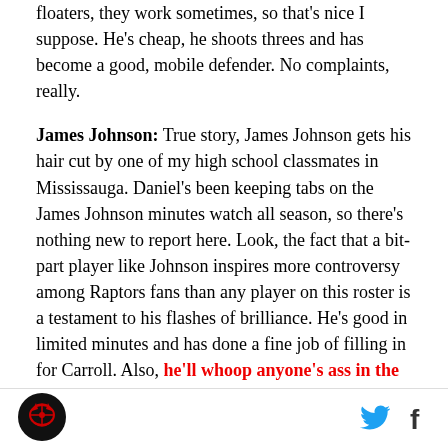floaters, they work sometimes, so that's nice I suppose. He's cheap, he shoots threes and has become a good, mobile defender. No complaints, really.
James Johnson: True story, James Johnson gets his hair cut by one of my high school classmates in Mississauga. Daniel's been keeping tabs on the James Johnson minutes watch all season, so there's nothing new to report here. Look, the fact that a bit-part player like Johnson inspires more controversy among Raptors fans than any player on this roster is a testament to his flashes of brilliance. He's good in limited minutes and has done a fine job of filling in for Carroll. Also, he'll whoop anyone's ass in the NBA, which is actually
Raptors logo, Twitter icon, Facebook icon